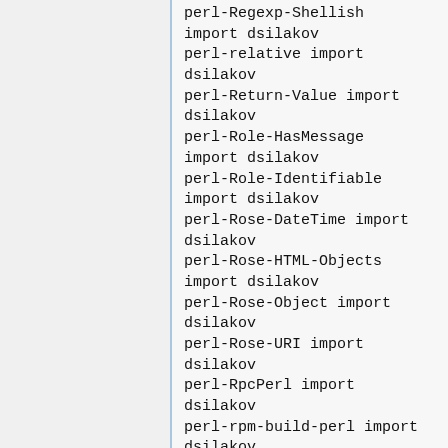perl-Regexp-Shellish import dsilakov
perl-relative import dsilakov
perl-Return-Value import dsilakov
perl-Role-HasMessage import dsilakov
perl-Role-Identifiable import dsilakov
perl-Rose-DateTime import dsilakov
perl-Rose-HTML-Objects import dsilakov
perl-Rose-Object import dsilakov
perl-Rose-URI import dsilakov
perl-RpcPerl import dsilakov
perl-rpm-build-perl import dsilakov
perl-RT-Client-Console import dsilakov
perl-RT-Client-REST import